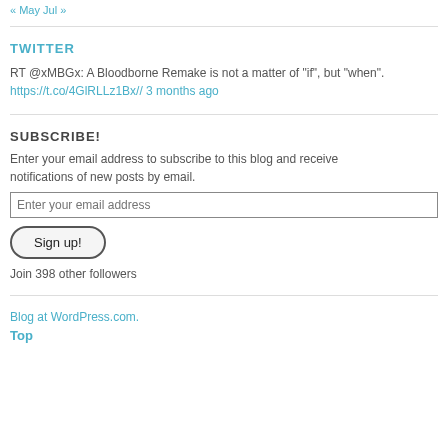« May  Jul »
TWITTER
RT @xMBGx: A Bloodborne Remake is not a matter of "if", but "when". https://t.co/4GlRLLz1Bx// 3 months ago
SUBSCRIBE!
Enter your email address to subscribe to this blog and receive notifications of new posts by email.
Enter your email address
Sign up!
Join 398 other followers
Blog at WordPress.com.
Top